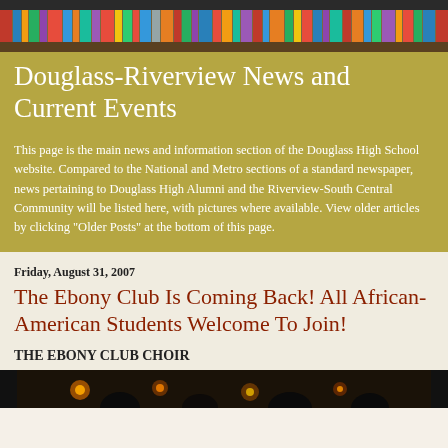[Figure (photo): Bookshelf header image with colorful book spines on wooden shelves]
Douglass-Riverview News and Current Events
This page is the main news and information section of the Douglass High School website. Compared to the National and Metro sections of a standard newspaper, news pertaining to Douglass High Alumni and the Riverview-South Central Community will be listed here, with pictures where available. View older articles by clicking "Older Posts" at the bottom of this page.
Friday, August 31, 2007
The Ebony Club Is Coming Back! All African-American Students Welcome To Join!
THE EBONY CLUB CHOIR
[Figure (photo): Photo of the Ebony Club Choir, dark background with warm lighting]